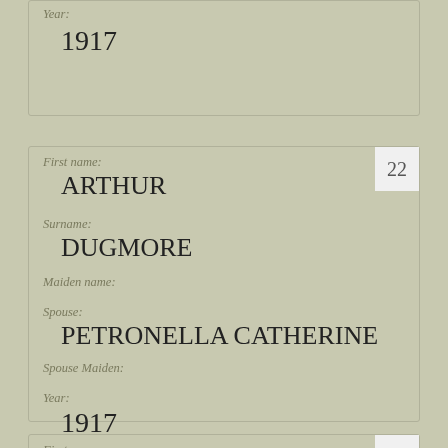Year: 1917
First name: ARTHUR
Surname: DUGMORE
Maiden name:
Spouse: PETRONELLA CATHERINE
Spouse Maiden:
Year: 1917
First name: EDWARD DONALD
Surname: DUGMORE
Maiden name: